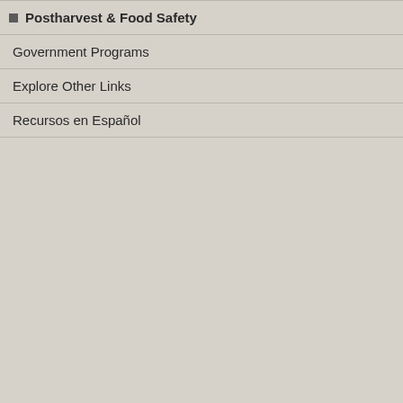Postharvest & Food Safety
Government Programs
Explore Other Links
Recursos en Español
Publi...
Publ.
Web...
Weblink (Espa...
Adding Value to Farm Produ...
Descrip...
Aut...
Publi...
Publ.
Web...
Weblink (Espa...
Ag Marketing 101